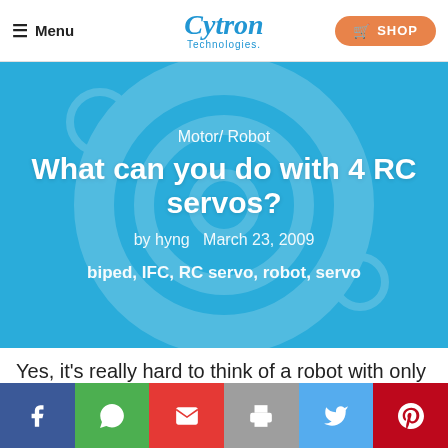Menu | Cytron Technologies | SHOP
Motor/ Robot
What can you do with 4 RC servos?
by hyng   March 23, 2009
biped, IFC, RC servo, robot, servo
Yes, it's really hard to think of a robot with only 4 RC servos without any other actuator.
Facebook | WhatsApp | Email | Print | Twitter | Pinterest